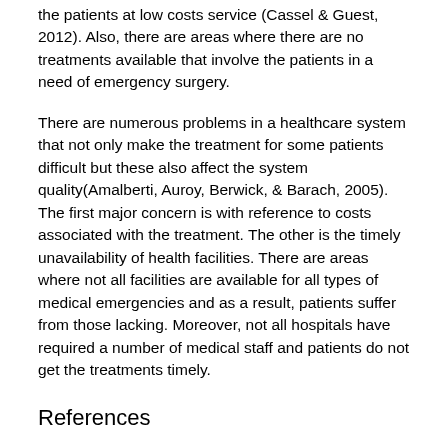the patients at low costs service (Cassel & Guest, 2012). Also, there are areas where there are no treatments available that involve the patients in a need of emergency surgery.
There are numerous problems in a healthcare system that not only make the treatment for some patients difficult but these also affect the system quality(Amalberti, Auroy, Berwick, & Barach, 2005). The first major concern is with reference to costs associated with the treatment. The other is the timely unavailability of health facilities. There are areas where not all facilities are available for all types of medical emergencies and as a result, patients suffer from those lacking. Moreover, not all hospitals have required a number of medical staff and patients do not get the treatments timely.
References
Amalberti, R., Auroy, Y., Berwick, D., & Barach, P. (2005). Five system barriers to achieving ultrasafe health care. Annals of